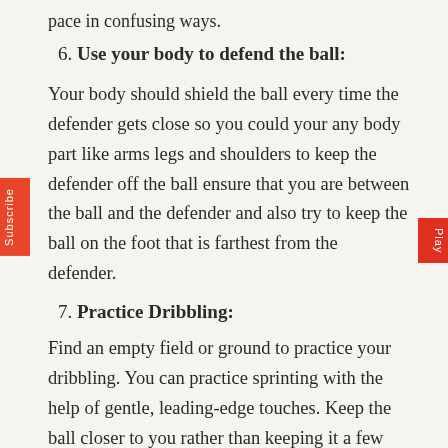pace in confusing ways.
6. Use your body to defend the ball:
Your body should shield the ball every time the defender gets close so you could your any body part like arms legs and shoulders to keep the defender off the ball ensure that you are between the ball and the defender and also try to keep the ball on the foot that is farthest from the defender.
7. Practice Dribbling:
Find an empty field or ground to practice your dribbling. You can practice sprinting with the help of gentle, leading-edge touches. Keep the ball closer to you rather than keeping it a few yards away.